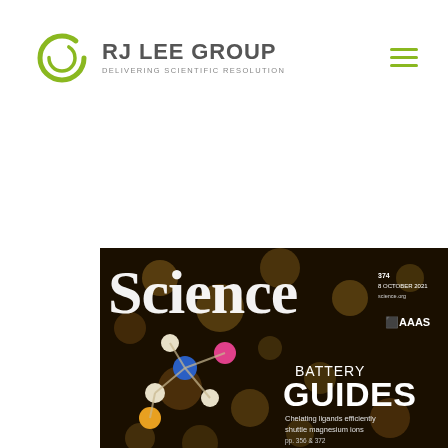[Figure (logo): RJ Lee Group logo with green circular icon and text 'RJ LEE GROUP - DELIVERING SCIENTIFIC RESOLUTION']
[Figure (photo): Cover of Science magazine, Vol 374, 8 October 2021, showing molecular structures against a bokeh background with text 'BATTERY GUIDES - Chelating ligands efficiently shuttle magnesium ions pp. 356 & 372'. AAAS logo visible.]